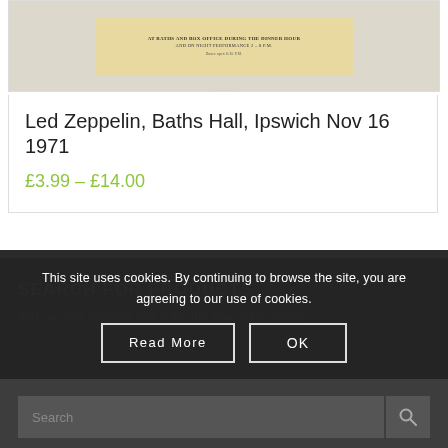[Figure (photo): Product card showing a vintage concert ticket for Led Zeppelin at Baths Hall, Ipswich on beige/tan background]
Led Zeppelin, Baths Hall, Ipswich Nov 16 1971
£3.99 – £14.00
SEARCH FOR PRODUCTS
You can find products fast using the search box below.
This site uses cookies. By continuing to browse the site, you are agreeing to our use of cookies.
Read More
OK